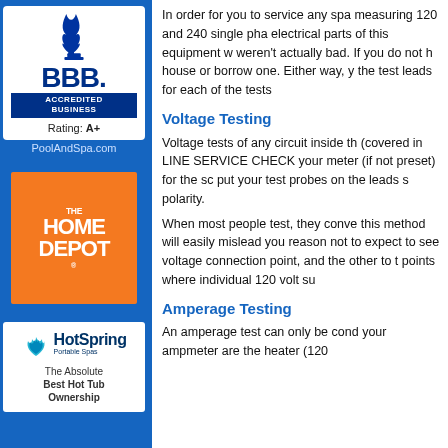[Figure (logo): BBB Accredited Business logo with Rating: A+ and PoolAndSpa.com link]
[Figure (logo): The Home Depot logo (orange square with white text)]
[Figure (logo): HotSpring Portable Spas logo with tagline 'The Absolute Best Hot Tub Ownership']
In order for you to service any spa measuring 120 and 240 single phase electrical parts of this equipment weren't actually bad. If you do not house or borrow one. Either way, y the test leads for each of the tests
Voltage Testing
Voltage tests of any circuit inside th (covered in LINE SERVICE CHEC your meter (if not preset) for the sc put your test probes on the leads s polarity.
When most people test, they conve this method will easily mislead you reason not to expect to see voltage connection point, and the other to t points where individual 120 volt su
Amperage Testing
An amperage test can only be cond your ampmeter are the heater (120